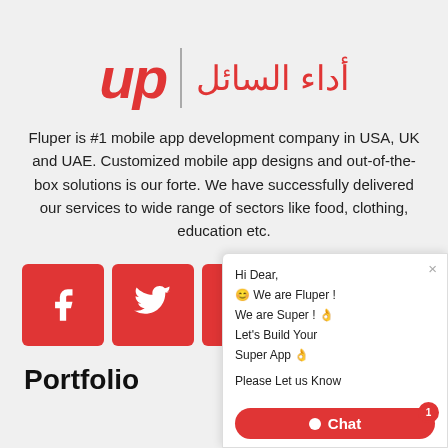[Figure (logo): Fluper logo with 'up' in red italic bold and Arabic text (أداء السائل) in red, separated by a vertical line]
Fluper is #1 mobile app development company in USA, UK and UAE. Customized mobile app designs and out-of-the-box solutions is our forte. We have successfully delivered our services to wide range of sectors like food, clothing, education etc.
[Figure (infographic): Four red square social media icon buttons: Facebook, Twitter, Instagram, YouTube (partially fifth visible)]
Portfolio
[Figure (screenshot): Chat widget overlay with text: Hi Dear, 😊 We are Fluper ! We are Super ! 👌 Let's Build Your Super App 👌 Please Let us Know, and a red Chat button with badge '1']